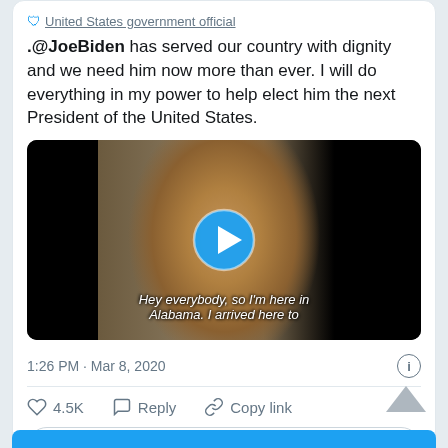United States government official
.@JoeBiden has served our country with dignity and we need him now more than ever. I will do everything in my power to help elect him the next President of the United States.
[Figure (screenshot): Video thumbnail showing a woman speaking to camera in front of a white brick wall, with subtitle text 'Hey everybody, so I'm here in Alabama. I arrived here to' and a blue play button overlay]
1:26 PM · Mar 8, 2020
4.5K  Reply  Copy link
Read 665 replies